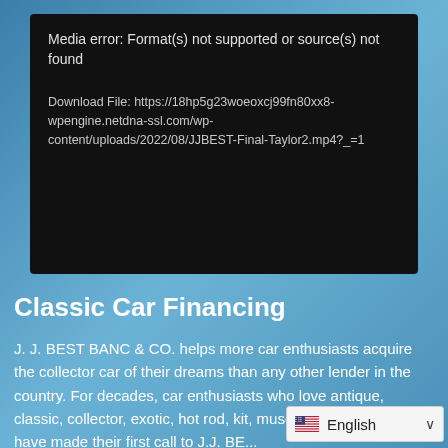[Figure (screenshot): Video player error box with black background showing 'Media error: Format(s) not supported or source(s) not found' and a download file link]
Classic Car Financing
J. J. BEST BANC & CO. helps more car enthusiasts acquire the collector car of their dreams than any other lender in the country. For decades, car enthusiasts who love antique, classic, collector, exotic, hot rod, kit, muscle and sports cars have made their first call to J.J. BE...
[Figure (screenshot): Language selector widget showing US flag and 'English' text with dropdown chevron]